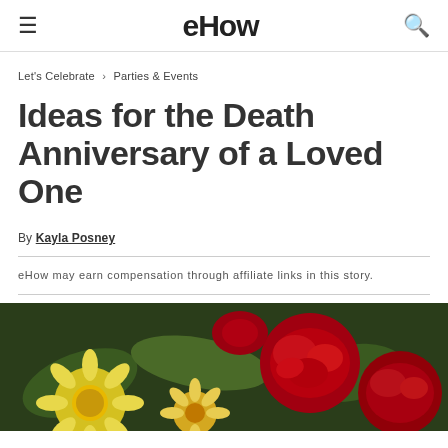eHow
Let's Celebrate › Parties & Events
Ideas for the Death Anniversary of a Loved One
By Kayla Posney
eHow may earn compensation through affiliate links in this story.
[Figure (photo): Close-up photo of red and yellow flowers including daisies and roses on a dark green background]